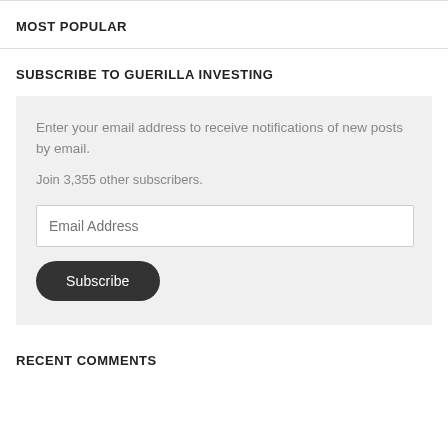MOST POPULAR
SUBSCRIBE TO GUERILLA INVESTING
Enter your email address to receive notifications of new posts by email.
Join 3,355 other subscribers.
RECENT COMMENTS